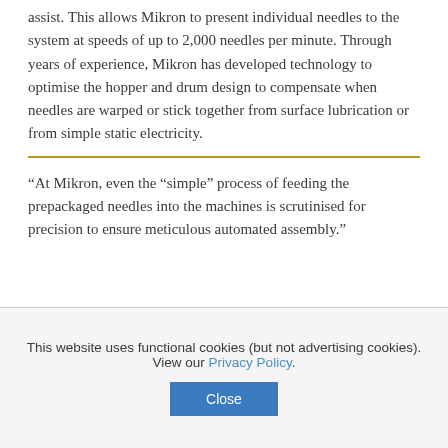assist. This allows Mikron to present individual needles to the system at speeds of up to 2,000 needles per minute. Through years of experience, Mikron has developed technology to optimise the hopper and drum design to compensate when needles are warped or stick together from surface lubrication or from simple static electricity.
“At Mikron, even the “simple” process of feeding the prepackaged needles into the machines is scrutinised for precision to ensure meticulous automated assembly.”
This website uses functional cookies (but not advertising cookies). View our Privacy Policy.